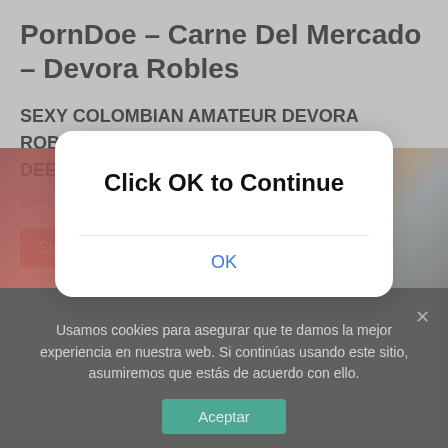PornDoe – Carne Del Mercado – Devora Robles
SEXY COLOMBIAN AMATEUR DEVORA ROBLES GETS PICKED UP AND FUCKED DEEP Gorgeous brunette babe Devora Robles gets picked up
[Figure (screenshot): Red button labeled 'Sigue leyendo' partially visible behind modal overlay]
[Figure (photo): Partially visible background photo with warm red and orange tones]
[Figure (screenshot): Modal dialog box with white background and rounded corners containing 'Click OK to Continue' heading and an OK button]
Usamos cookies para asegurar que te damos la mejor experiencia en nuestra web. Si continúas usando este sitio, asumiremos que estás de acuerdo con ello.
Aceptar